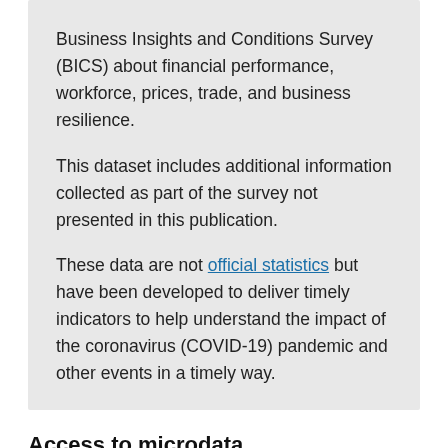Business Insights and Conditions Survey (BICS) about financial performance, workforce, prices, trade, and business resilience.
This dataset includes additional information collected as part of the survey not presented in this publication.
These data are not official statistics but have been developed to deliver timely indicators to help understand the impact of the coronavirus (COVID-19) pandemic and other events in a timely way.
Access to microdata